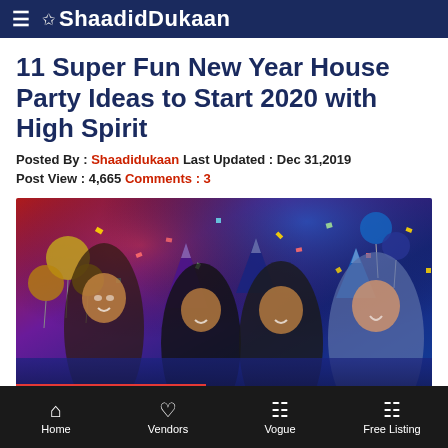ShaadidDukaan
11 Super Fun New Year House Party Ideas to Start 2020 with High Spirit
Posted By : Shaadidukaan Last Updated : Dec 31,2019
Post View : 4,665 Comments : 3
[Figure (photo): Group of four young people celebrating New Year wearing party hats, with balloons, confetti and colorful lights. Red overlay button 'Free Quotation' at bottom left.]
Home | Vendors | Vogue | Free Listing